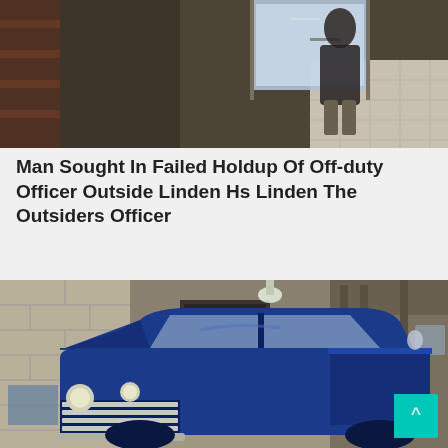[Figure (photo): Security camera footage showing a person in dark clothing near a doorway or entrance, indoor setting with tiled floor]
Man Sought In Failed Holdup Of Off-duty Officer Outside Linden Hs Linden The Outsiders Officer
[Figure (photo): A vintage classic blue pickup truck (1950s style Chevrolet) parked inside an automotive garage or workshop with concrete block walls and industrial ceiling]
[Figure (other): Scroll to top button with upward caret arrow on teal/cyan background]